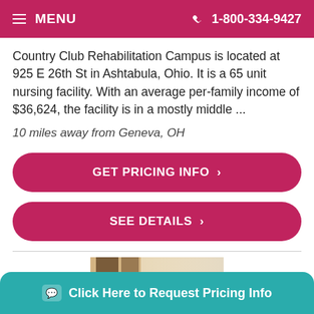MENU  1-800-334-9427
Country Club Rehabilitation Campus is located at 925 E 26th St in Ashtabula, Ohio. It is a 65 unit nursing facility. With an average per-family income of $36,624, the facility is in a mostly middle ...
10 miles away from Geneva, OH
GET PRICING INFO ❯
SEE DETAILS ❯
[Figure (photo): Photo of a room or hallway interior, partially visible]
Click Here to Request Pricing Info